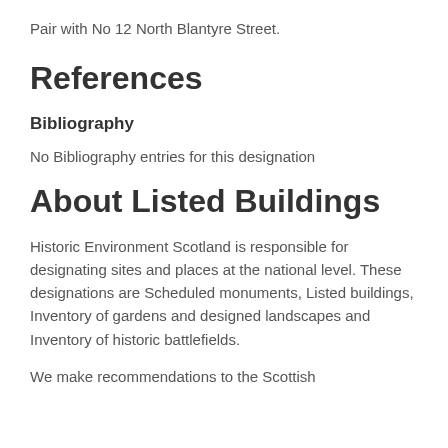Pair with No 12 North Blantyre Street.
References
Bibliography
No Bibliography entries for this designation
About Listed Buildings
Historic Environment Scotland is responsible for designating sites and places at the national level. These designations are Scheduled monuments, Listed buildings, Inventory of gardens and designed landscapes and Inventory of historic battlefields.
We make recommendations to the Scottish